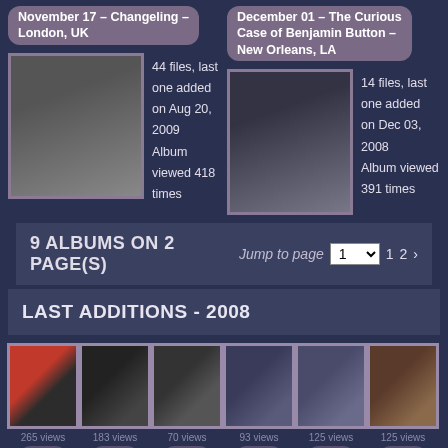November 17 – Changeling – London, UK
44 files, last one added on Aug 20, 2009
Album viewed 418 times
December 01 – The Curious Case of Benjamin Button – New Orleans, LA
14 files, last one added on Dec 03, 2008
Album viewed 391 times
9 ALBUMS ON 2 PAGE(S)
Jump to page  1  2
LAST ADDITIONS - 2008
265 views
183 views
70 views
93 views
125 views
125 views
Nov 18, 2009
Nov 18, 2009
Nov 18, 2009
Nov 18, 2009
Aug 20, 2009
Aug 20, 2009